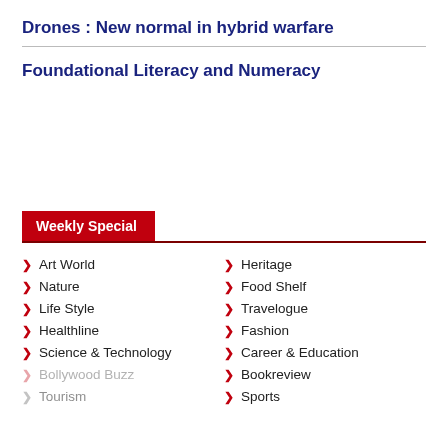Drones : New normal in hybrid warfare
Foundational Literacy and Numeracy
Weekly Special
Art World
Nature
Life Style
Healthline
Science & Technology
Bollywood Buzz
Tourism
Heritage
Food Shelf
Travelogue
Fashion
Career & Education
Bookreview
Sports